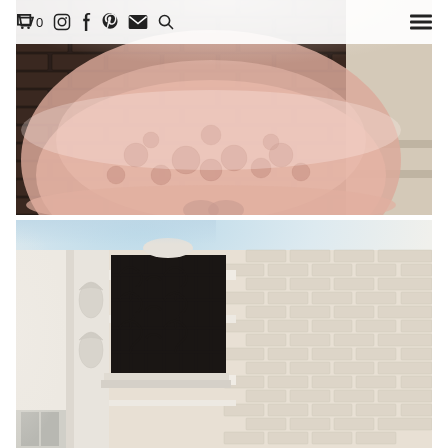cart 0, instagram, facebook, pinterest, email, search, menu
[Figure (photo): Close-up photo of a bride wearing a pink lace ball gown wedding dress, photographed from the waist down standing on a dark brick cobblestone path next to white steps/doorway]
[Figure (photo): Exterior architectural detail of a white-painted brick building with ornate black wrought iron scrollwork window grate and decorative white carved trim molding]